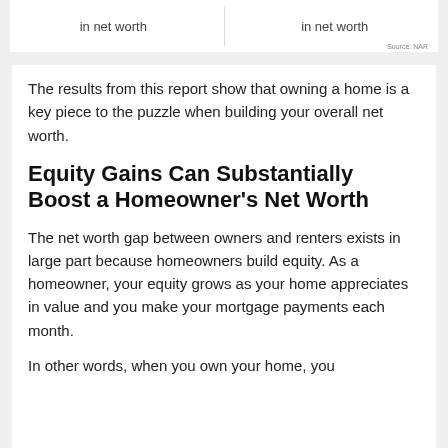[Figure (other): Two-column card showing 'in net worth' labels side by side, from NAR source]
Source: NAR
The results from this report show that owning a home is a key piece to the puzzle when building your overall net worth.
Equity Gains Can Substantially Boost a Homeowner’s Net Worth
The net worth gap between owners and renters exists in large part because homeowners build equity. As a homeowner, your equity grows as your home appreciates in value and you make your mortgage payments each month.
In other words, when you own your home, you